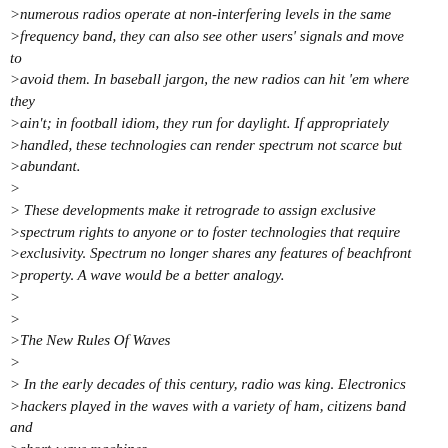>numerous radios operate at non-interfering levels in the same >frequency band, they can also see other users' signals and move to >avoid them. In baseball jargon, the new radios can hit 'em where they >ain't; in football idiom, they run for daylight. If appropriately >handled, these technologies can render spectrum not scarce but >abundant.
>
> These developments make it retrograde to assign exclusive >spectrum rights to anyone or to foster technologies that require >exclusivity. Spectrum no longer shares any features of beachfront >property. A wave would be a better analogy.
>
>
>The New Rules Of Waves
>
> In the early decades of this century, radio was king. Electronics >hackers played in the waves with a variety of ham, citizens band and >short-wave machines.
>
> Experimenting with crystal sets, they innocently entered the >domain of solid-state devices and acquired some of the skills that >fueled the electronic revolution in the United States and the radar